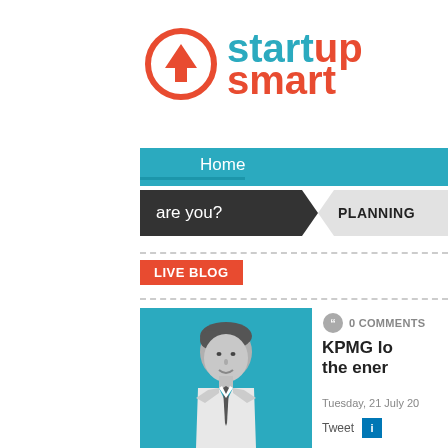[Figure (logo): Startup Smart logo with orange circle arrow icon and teal/orange text]
Home
are you?   PLANNING
LIVE BLOG
[Figure (photo): Black and white portrait of a young man in shirt and tie on teal background]
0 COMMENTS
KPMG lo the ener
Tuesday, 21 July 20
Tweet